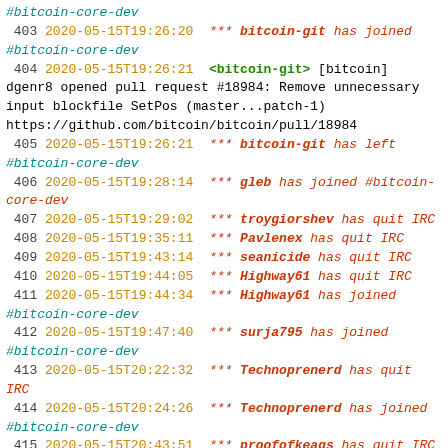#bitcoin-core-dev
403 2020-05-15T19:26:20  *** bitcoin-git has joined #bitcoin-core-dev
404 2020-05-15T19:26:21  <bitcoin-git> [bitcoin] dgenr8 opened pull request #18984: Remove unnecessary input blockfile SetPos (master...patch-1) https://github.com/bitcoin/bitcoin/pull/18984
405 2020-05-15T19:26:21  *** bitcoin-git has left #bitcoin-core-dev
406 2020-05-15T19:28:14  *** gleb has joined #bitcoin-core-dev
407 2020-05-15T19:29:02  *** troygiorshev has quit IRC
408 2020-05-15T19:35:11  *** Pavlenex has quit IRC
409 2020-05-15T19:43:14  *** seanicide has quit IRC
410 2020-05-15T19:44:05  *** Highway61 has quit IRC
411 2020-05-15T19:44:34  *** Highway61 has joined #bitcoin-core-dev
412 2020-05-15T19:47:40  *** surja795 has joined #bitcoin-core-dev
413 2020-05-15T20:22:32  *** Technoprenerd has quit IRC
414 2020-05-15T20:24:26  *** Technoprenerd has joined #bitcoin-core-dev
415 2020-05-15T20:43:51  *** proofofkeags has quit IRC
416 2020-05-15T20:48:43  *** kristapsk_ has joined #bitcoin-core-dev
417 2020-05-15T20:49:24  *** Technoprenerd has quit IRC